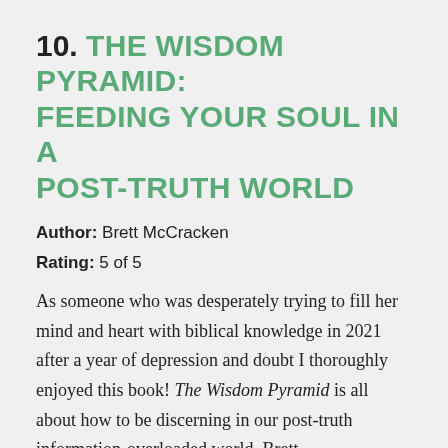10. THE WISDOM PYRAMID: FEEDING YOUR SOUL IN A POST-TRUTH WORLD
Author: Brett McCracken
Rating: 5 of 5
As someone who was desperately trying to fill her mind and heart with biblical knowledge in 2021 after a year of depression and doubt I thoroughly enjoyed this book! The Wisdom Pyramid is all about how to be discerning in our post-truth information-overloaded world. Brett